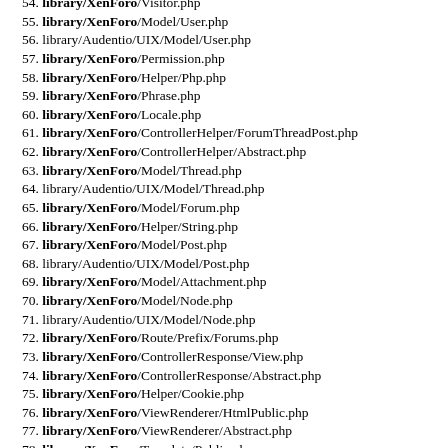54. library/XenForo/Visitor.php
55. library/XenForo/Model/User.php
56. library/Audentio/UIX/Model/User.php
57. library/XenForo/Permission.php
58. library/XenForo/Helper/Php.php
59. library/XenForo/Phrase.php
60. library/XenForo/Locale.php
61. library/XenForo/ControllerHelper/ForumThreadPost.php
62. library/XenForo/ControllerHelper/Abstract.php
63. library/XenForo/Model/Thread.php
64. library/Audentio/UIX/Model/Thread.php
65. library/XenForo/Model/Forum.php
66. library/XenForo/Helper/String.php
67. library/XenForo/Model/Post.php
68. library/Audentio/UIX/Model/Post.php
69. library/XenForo/Model/Attachment.php
70. library/XenForo/Model/Node.php
71. library/Audentio/UIX/Model/Node.php
72. library/XenForo/Route/Prefix/Forums.php
73. library/XenForo/ControllerResponse/View.php
74. library/XenForo/ControllerResponse/Abstract.php
75. library/XenForo/Helper/Cookie.php
76. library/XenForo/ViewRenderer/HtmlPublic.php
77. library/XenForo/ViewRenderer/Abstract.php
78. library/XenForo/Template/Public.php
79. library/XenForo/Template/Abstract.php